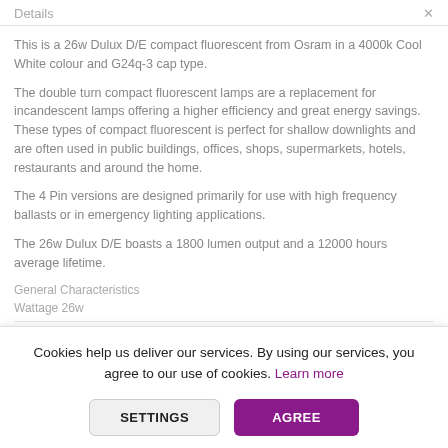Details
This is a 26w Dulux D/E compact fluorescent from Osram in a 4000k Cool White colour and G24q-3 cap type.
The double turn compact fluorescent lamps are a replacement for incandescent lamps offering a higher efficiency and great energy savings. These types of compact fluorescent is perfect for shallow downlights and are often used in public buildings, offices, shops, supermarkets, hotels, restaurants and around the home.
The 4 Pin versions are designed primarily for use with high frequency ballasts or in emergency lighting applications.
The 26w Dulux D/E boasts a 1800 lumen output and a 12000 hours average lifetime.
General Characteristics
Wattage 26w
Cookies help us deliver our services. By using our services, you agree to our use of cookies. Learn more